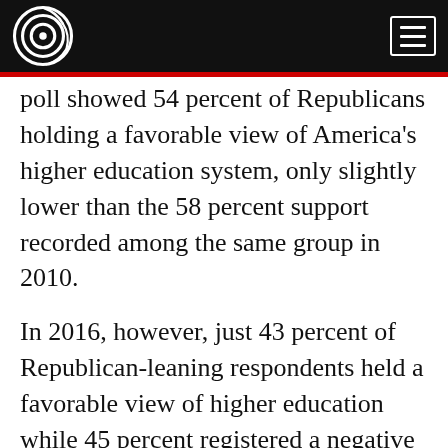[Logo] [Menu button]
poll showed 54 percent of Republicans holding a favorable view of America's higher education system, only slightly lower than the 58 percent support recorded among the same group in 2010.
In 2016, however, just 43 percent of Republican-leaning respondents held a favorable view of higher education while 45 percent registered a negative opinion, a trend that continued without abatement in this year's survey.
According to the survey, the only other national institution about which Republicans and Democrats are more sharply divided is the news